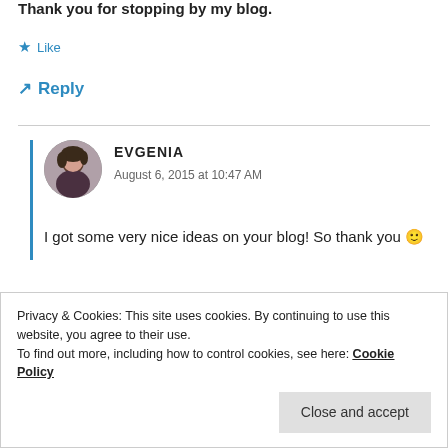Thank you for stopping by my blog.
★ Like
↳ Reply
EVGENIA
August 6, 2015 at 10:47 AM
I got some very nice ideas on your blog! So thank you 🙂
Privacy & Cookies: This site uses cookies. By continuing to use this website, you agree to their use.
To find out more, including how to control cookies, see here: Cookie Policy